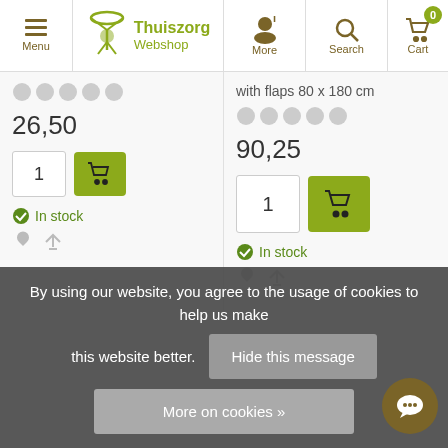[Figure (screenshot): Thuiszorg Webshop navigation bar with menu, logo, more, search, and cart (0 items) icons]
26,50
with flaps 80 x 180 cm
90,25
In stock
In stock
By using our website, you agree to the usage of cookies to help us make this website better.
Hide this message
More on cookies »